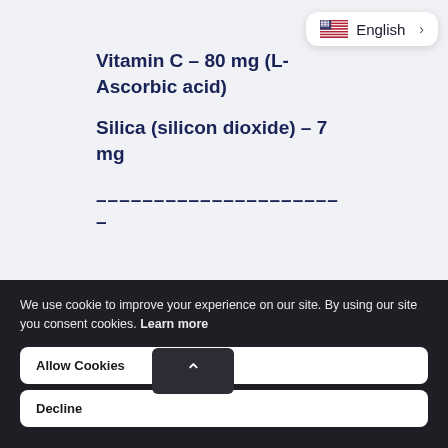(Vegan Sodium Hyaluronate)
Vitamin C – 80 mg (L-Ascorbic acid)
Silica (silicon dioxide) – 7 mg
– – – – – – – – – – – – – – – – – – – – –
We use cookie to improve your experience on our site. By using our site you consent cookies. Learn more
Allow Cookies
Decline